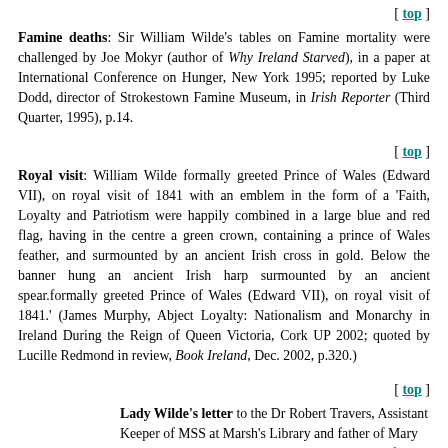[ top ]
Famine deaths: Sir William Wilde's tables on Famine mortality were challenged by Joe Mokyr (author of Why Ireland Starved), in a paper at International Conference on Hunger, New York 1995; reported by Luke Dodd, director of Strokestown Famine Museum, in Irish Reporter (Third Quarter, 1995), p.14.
[ top ]
Royal visit: William Wilde formally greeted Prince of Wales (Edward VII), on royal visit of 1841 with an emblem in the form of a 'Faith, Loyalty and Patriotism were happily combined in a large blue and red flag, having in the centre a green crown, containing a prince of Wales feather, and surmounted by an ancient Irish cross in gold. Below the banner hung an ancient Irish harp surmounted by an ancient spear.formally greeted Prince of Wales (Edward VII), on royal visit of 1841.' (James Murphy, Abject Loyalty: Nationalism and Monarchy in Ireland During the Reign of Queen Victoria, Cork UP 2002; quoted by Lucille Redmond in review, Book Ireland, Dec. 2002, p.320.)
[ top ]
Lady Wilde's letter to the Dr Robert Travers, Assistant Keeper of MSS at Marsh's Library and father of Mary Travers, dated 6 May 1864 - leading to the trial of 12-19th Dec. 1864:
Sir - You may not be aware of the